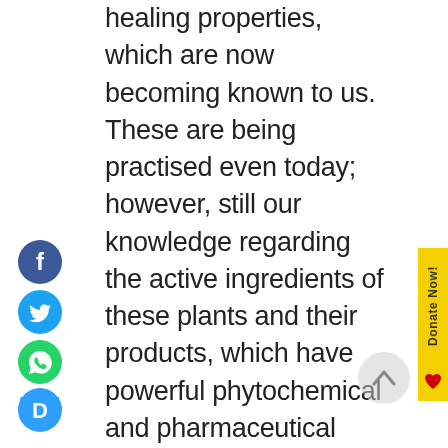healing properties, which are now becoming known to us. These are being practised even today; however, still our knowledge regarding the active ingredients of these plants and their products, which have powerful phytochemical and pharmaceutical actions, are poorly understood. There are no proper scientific validations, and despite a treasure of phytomedicines, our ailments such as cancer, obesity-related hypertension, diabetes, and many incurable diseases are on the rise. There is an urgent need to review the historically prescribed superfood-derived drugs for their state-of-the-art development and use. Hence, the
[Figure (other): Social media icons: Facebook (blue circle with f), Twitter (cyan circle with bird), WhatsApp (green circle with phone), and Disqus (blue circle with D) arranged vertically on the left side. Also includes a MENU label in teal.]
[Figure (other): Yellow vertical 'Donate Now!' tab on the right edge with a red heart icon below it, and a back-to-top arrow button.]